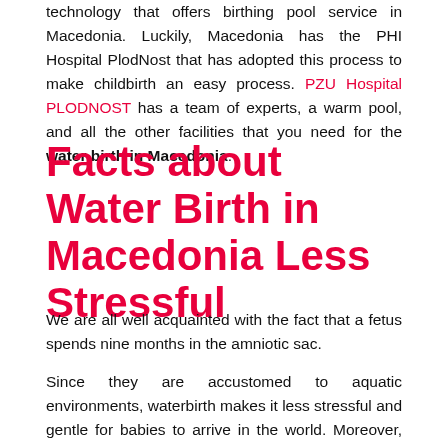technology that offers birthing pool service in Macedonia. Luckily, Macedonia has the PHI Hospital PlodNost that has adopted this process to make childbirth an easy process. PZU Hospital PLODNOST has a team of experts, a warm pool, and all the other facilities that you need for the water birth in Macedonia.
Facts about Water Birth in Macedonia Less Stressful
We are all well acquainted with the fact that a fetus spends nine months in the amniotic sac.
Since they are accustomed to aquatic environments, waterbirth makes it less stressful and gentle for babies to arrive in the world. Moreover, mothers do not need analgesia or epidural injection to combat the pain of childbirth.